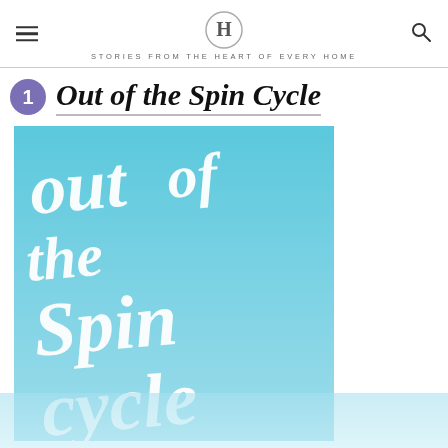STORIES FROM THE HEART OF EVERY HOME
Out of the Spin Cycle
[Figure (illustration): Book cover for 'Out of the Spin Cycle' with white hand-lettered script text on a blue gradient background. The text reads 'out of the Spin cycle' in decorative cursive lettering.]